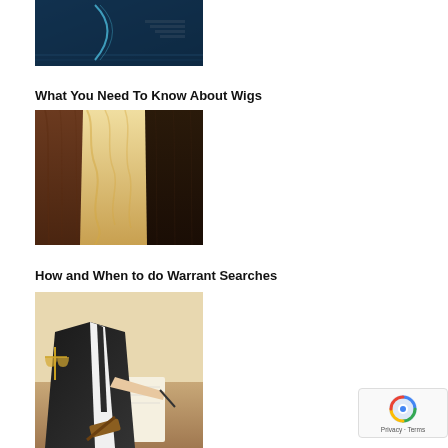[Figure (photo): Dark blue/teal interior room with staircase or corridor]
What You Need To Know About Wigs
[Figure (photo): Three women from behind showing long wigs: brown, blonde wavy, and dark brown]
How and When to do Warrant Searches
[Figure (photo): Person in suit writing at desk with scales of justice and gavel]